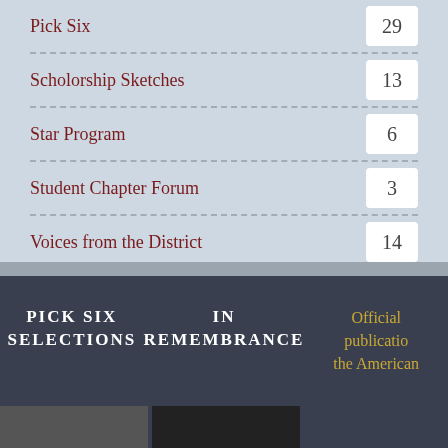Pick Six  29
Scholorship Sketches  13
Star Program  6
Student Chapter Forum  3
Voices from the District  14
PICK SIX SELECTIONS
IN REMEMBRANCE
Official publication of the American